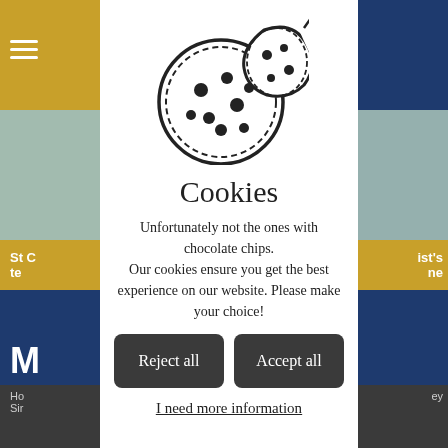[Figure (screenshot): Background website screenshot of a school website with navy blue, gold and white color scheme, partially visible behind cookie consent modal]
Cookies
Unfortunately not the ones with chocolate chips. Our cookies ensure you get the best experience on our website. Please make your choice!
Reject all
Accept all
I need more information